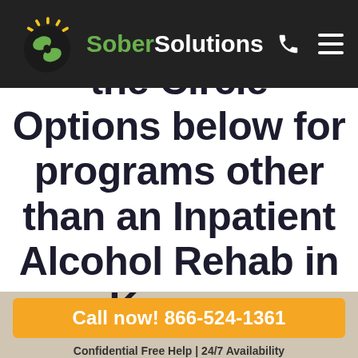[Figure (logo): Sober Solutions logo with green S icon and green/white text]
the Circle Options below for programs other than an Inpatient Alcohol Rehab in Kansas
Call now! 866-524-1361
Confidential Free Help | 24/7 Availability